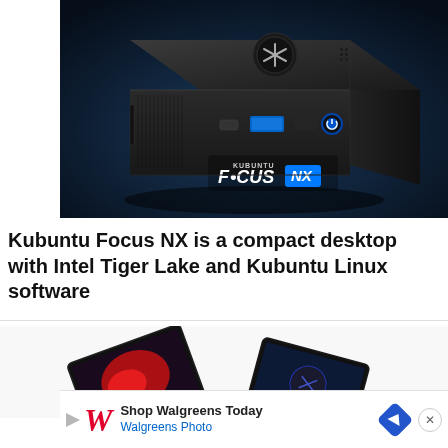[Figure (photo): Kubuntu Focus NX compact desktop mini PC with black aluminum chassis, USB-A port (blue), Thunderbolt port, power button, and front-mounted KUBUNTU FOCUS NX logo on a dark blue gradient background.]
Kubuntu Focus NX is a compact desktop with Intel Tiger Lake and Kubuntu Linux software
[Figure (photo): Multiple open laptop computers arranged in a fan/spread pattern showing screens with colorful wallpapers, on a white background.]
[Figure (other): Advertisement banner for Walgreens: shows Walgreens cursive W logo in red, text 'Shop Walgreens Today' and 'Walgreens Photo', blue navigation arrow icon, and an X close button.]